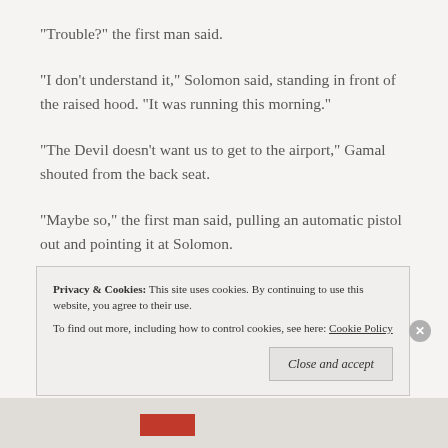“Trouble?” the first man said.
“I don’t understand it,” Solomon said, standing in front of the raised hood. “It was running this morning.”
“The Devil doesn’t want us to get to the airport,” Gamal shouted from the back seat.
“Maybe so,” the first man said, pulling an automatic pistol out and pointing it at Solomon.
* * *
Privacy & Cookies: This site uses cookies. By continuing to use this website, you agree to their use.
To find out more, including how to control cookies, see here: Cookie Policy